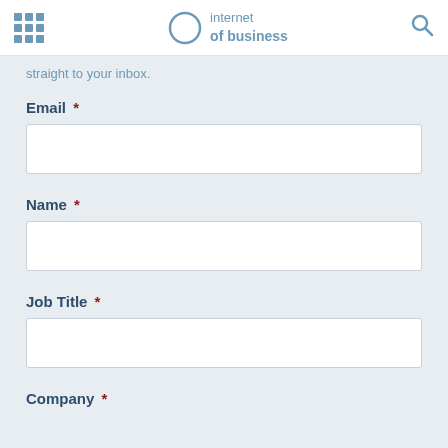internet of business
straight to your inbox.
Email *
Name *
Job Title *
Company *